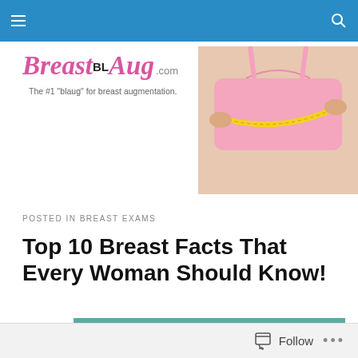BreastBLAug.com — navigation bar
[Figure (logo): BreastBLAug.com website logo with italic pink text 'Breast', bold 'BL', italic pink 'Aug', grey '.com', and tagline 'The #1 "blaug" for breast augmentation.']
[Figure (photo): Woman in pink sports bra measuring her chest with a yellow tape measure, cropped torso view]
POSTED IN BREAST EXAMS
Top 10 Breast Facts That Every Woman Should Know!
[Figure (photo): Teal/green background image, partially visible, article illustration]
Follow  •••